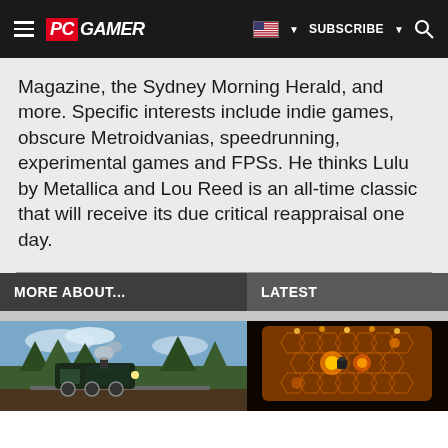PC GAMER | SUBSCRIBE | Search
Magazine, the Sydney Morning Herald, and more. Specific interests include indie games, obscure Metroidvanias, speedrunning, experimental games and FPSs. He thinks Lulu by Metallica and Lou Reed is an all-time classic that will receive its due critical reappraisal one day.
MORE ABOUT...
LATEST
[Figure (photo): Screenshot of a train game with lush green forest environment and a steam locomotive]
[Figure (photo): Top-down pixel art game screenshot showing an orange/gold colored mechanical structure with glowing effects]